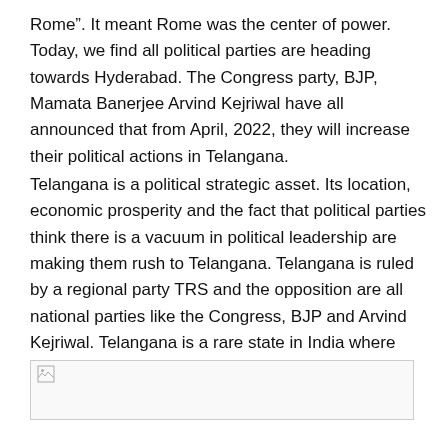Rome”. It meant Rome was the center of power. Today, we find all political parties are heading towards Hyderabad. The Congress party, BJP, Mamata Banerjee Arvind Kejriwal have all announced that from April, 2022, they will increase their political actions in Telangana.
Telangana is a political strategic asset. Its location, economic prosperity and the fact that political parties think there is a vacuum in political leadership are making them rush to Telangana. Telangana is ruled by a regional party TRS and the opposition are all national parties like the Congress, BJP and Arvind Kejriwal. Telangana is a rare state in India where there is only one regional party and the rest are national parties.
[Figure (other): Broken image placeholder icon in the bottom section of the page]